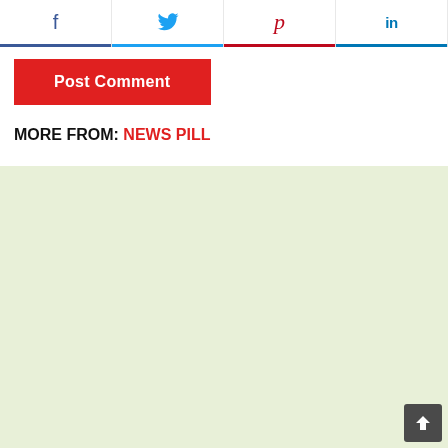[Figure (screenshot): Social sharing bar with Facebook (f), Twitter (bird icon), Pinterest (p), and LinkedIn (in) buttons, each with colored bottom border]
Post Comment
MORE FROM: NEWS PILL
[Figure (illustration): Repeating pattern of gray capsule/pill illustrations on a light green background, arranged diagonally]